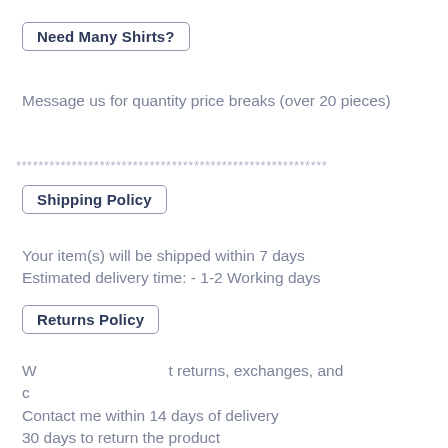Need Many Shirts?
Message us for quantity price breaks (over 20 pieces)
************************************************************
Shipping Policy
Your item(s) will be shipped within 7 days
Estimated delivery time: - 1-2 Working days
Returns Policy
We accept returns, exchanges, and c…
Contact me within 14 days of delivery
30 days to return the product
[Figure (other): Pink 'Chat with us' button overlay]